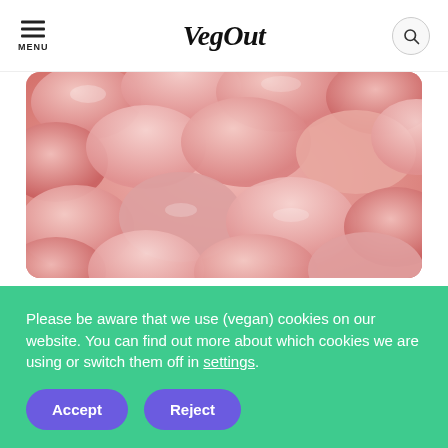VegOut
[Figure (photo): Close-up photo of pink/salmon-colored round candy tablets (Now and Later candies) piled together]
Now and Later
When it comes to Now and Later candies, opt for the originals. The Original Mix, Tropical Rush, and Berry
Please be aware that we use (vegan) cookies on our website. You can find out more about which cookies we are using or switch them off in settings.